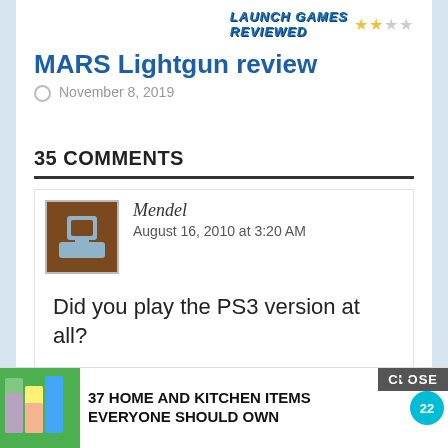[Figure (logo): Launch Games Reviewed banner with 2-star rating]
MARS Lightgun review
November 8, 2019
35 COMMENTS
Mendel
August 16, 2010 at 3:20 AM
Did you play the PS3 version at all?
Jackson
August 16, 2010 at 3:20 AM
[Figure (infographic): Advertisement: 37 Home and Kitchen Items Everyone Should Own with colorful product images and badge showing 22]